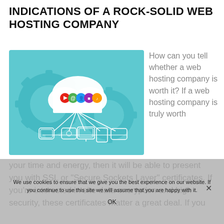INDICATIONS OF A ROCK-SOLID WEB HOSTING COMPANY
[Figure (illustration): Infographic showing a cloud with colorful app icons, connected by lines to devices below (computer screens, tablet, phone), with teal gear shapes in the background, on a light teal background.]
How can you tell whether a web hosting company is worth it? If a web hosting company is truly worth
your time and energy, then it will be able to present you with SSL or “Secure Sockets Layer” certificates. If you’re interested in site data encryption and high security, these certificates matter a great deal. If you
We use cookies to ensure that we give you the best experience on our website. If you continue to use this site we will assume that you are happy with it.

OK